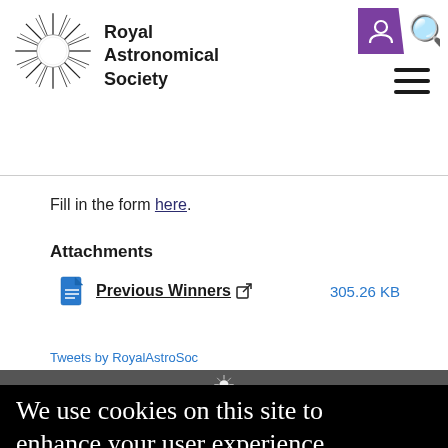[Figure (logo): Royal Astronomical Society logo — circular starburst with text 'Royal Astronomical Society']
Fill in the form here.
Attachments
Previous Winners 305.26 KB
Tweets by RoyalAstroSoc
We use cookies on this site to enhance your user experience
By clicking...